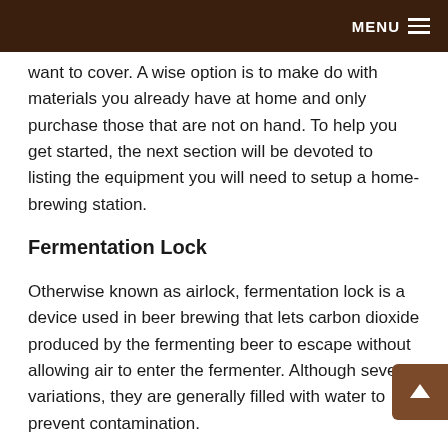MENU
want to cover. A wise option is to make do with materials you already have at home and only purchase those that are not on hand. To help you get started, the next section will be devoted to listing the equipment you will need to setup a home-brewing station.
Fermentation Lock
Otherwise known as airlock, fermentation lock is a device used in beer brewing that lets carbon dioxide produced by the fermenting beer to escape without allowing air to enter the fermenter. Although several variations, they are generally filled with water to prevent contamination.